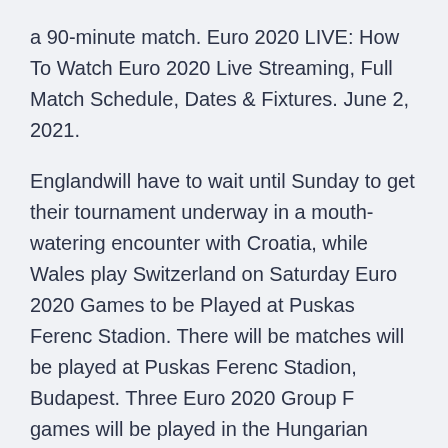a 90-minute match. Euro 2020 LIVE: How To Watch Euro 2020 Live Streaming, Full Match Schedule, Dates & Fixtures. June 2, 2021.
Englandwill have to wait until Sunday to get their tournament underway in a mouth-watering encounter with Croatia, while Wales play Switzerland on Saturday Euro 2020 Games to be Played at Puskas Ferenc Stadion. There will be matches will be played at Puskas Ferenc Stadion, Budapest. Three Euro 2020 Group F games will be played in the Hungarian capital as well as one Euro 2020 last 16 fixture:-. Sunday 28 th June – Round of 16 match (1 st place Group C v 3 rd place Group D/E/F) May 12, 2021 · Group C: Austria vs North Macedonia (17:00, Bucharest) Group C: Netherlands vs Ukraine (20:00, Amsterdam) Monday 14 June . Group